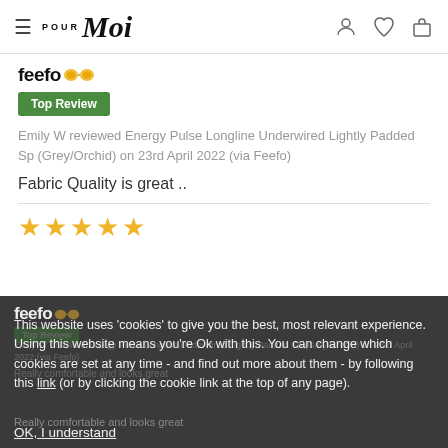Pour Moi — navigation header with hamburger menu, logo, and icons
[Figure (logo): Feefo logo with yellow glasses icon]
Top Review
Emily W reviewed Energy Pulse Longline Underwired Lightly Padded Sp (Grey/Orchid) on 23rd April 2022 (via Feefo)
Fabric Quality is great ..
[Figure (other): Five gold star rating]
[Figure (screenshot): Cookie consent banner overlay on dark background with Feefo logo, Top Review badge, and partially visible review content]
This website uses 'cookies' to give you the best, most relevant experience. Using this website means you're Ok with this. You can change which cookies are set at any time - and find out more about them - by following this link (or by clicking the cookie link at the top of any page).
Really comfortable and looks great
OK, I understand